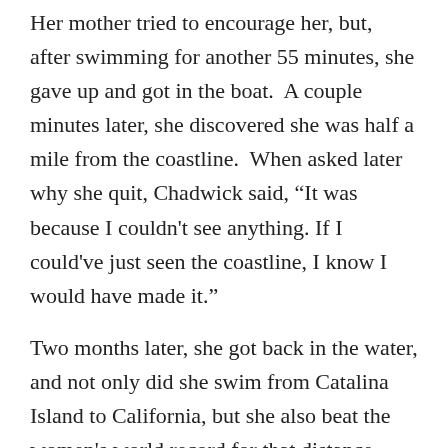Her mother tried to encourage her, but, after swimming for another 55 minutes, she gave up and got in the boat.  A couple minutes later, she discovered she was half a mile from the coastline.  When asked later why she quit, Chadwick said, “It was because I couldn't see anything. If I could've just seen the coastline, I know I would have made it.”
Two months later, she got back in the water, and not only did she swim from Catalina Island to California, but she also beat the women's world record for that distance.
And the men's.  By two and a half hours.
Interestingly, the second time she swam, it was even foggier than the first time. She could not see anything. When reporters asked her about it afterward, she said, “I was ready this time.  And it’s really simple: I kept a